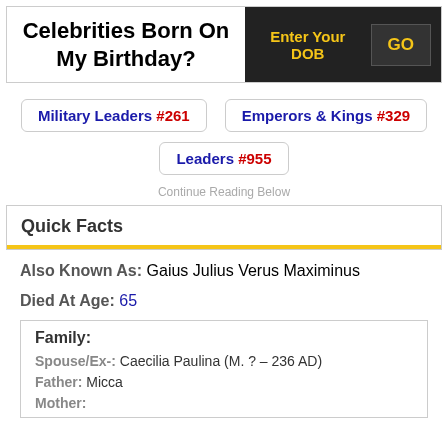Celebrities Born On My Birthday?
Enter Your DOB | GO
Military Leaders #261
Emperors & Kings #329
Leaders #955
Continue Reading Below
Quick Facts
Also Known As: Gaius Julius Verus Maximinus
Died At Age: 65
Family:
Spouse/Ex-: Caecilia Paulina (M. ? – 236 AD)
Father: Micca
Mother: Ab...